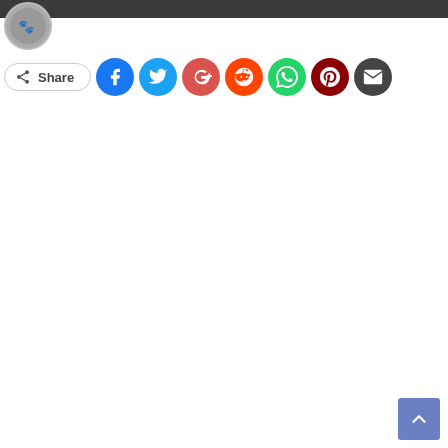[Figure (screenshot): Social share bar with Share button and colored social media icon circles for Facebook, Twitter, Google+, Reddit, WhatsApp, Pinterest, and Email]
[Figure (screenshot): Back to top arrow button, blue square with white upward arrow, bottom right corner]